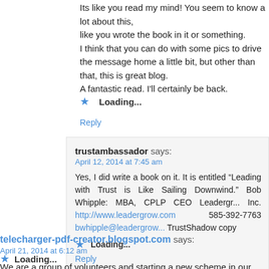Its like you read my mind! You seem to know a lot about this, like you wrote the book in it or something. I think that you can do with some pics to drive the message home a little bit, but other than that, this is great blog. A fantastic read. I'll certainly be back.
Loading...
Reply
trustambassador says: April 12, 2014 at 7:45 am
Yes, I did write a book on it. It is entitled âLeading with Trust is Like Sailing Downwind.â Bob Whipple: MBA, CPLP CEO Leadergrow Inc. http://www.leadergrow.com 585-392-7763 bwhipple@leadergrow... TrustShadow copy
Loading...
Reply
telecharger-pdf-creator.blogspot.com says: April 21, 2014 at 6:12 am
We are a group of volunteers and starting a new scheme in our community. Your website offered us with valuable info to work on. You have done an impressive job and our whole community will be thankful to
Loading...